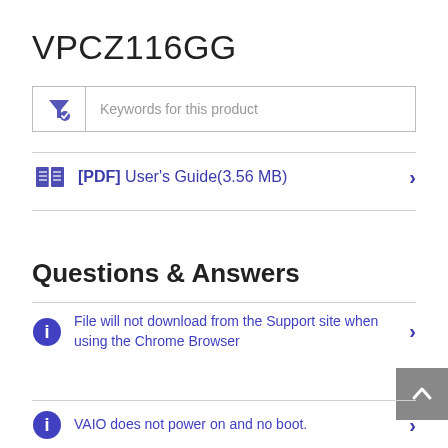VPCZ116GG
[Figure (screenshot): Search/filter input box with funnel icon and placeholder text 'Keywords for this product']
[PDF] User's Guide(3.56 MB)
Questions & Answers
File will not download from the Support site when using the Chrome Browser
VAIO does not power on and no boot.